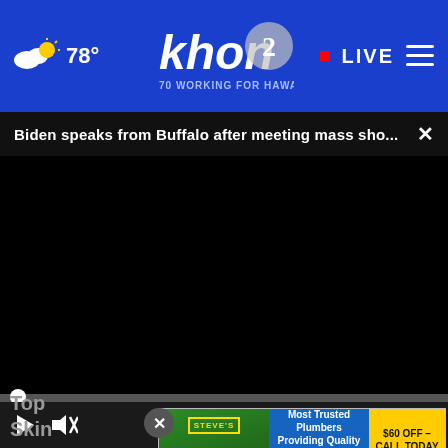78° khon2 WORKING FOR HAWAII LIVE
Biden speaks from Buffalo after meeting mass sho...
[Figure (screenshot): Black video player area with progress bar at 0:00, play button, mute button, and fullscreen control on dark controls bar]
[Figure (photo): Partial thumbnail image visible at bottom, brown skin tones, advertisement overlay: Steve's Plumbing - Most Trusted Plumbers Providing Quality Service with Aloha Since 1987, $60 OFF - CALL TODAY & SAVE]
Top Skin
Most Trusted Plumbers Providing Quality Service with Aloha Since 1987 $60 OFF – CALL TODAY & SAVE